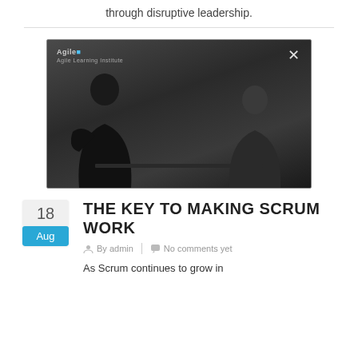through disruptive leadership.
[Figure (screenshot): Dark video thumbnail showing two people silhouetted, with an Agile logo in the top left and a white X close button in the top right.]
THE KEY TO MAKING SCRUM WORK
By admin  |  No comments yet
As Scrum continues to grow in